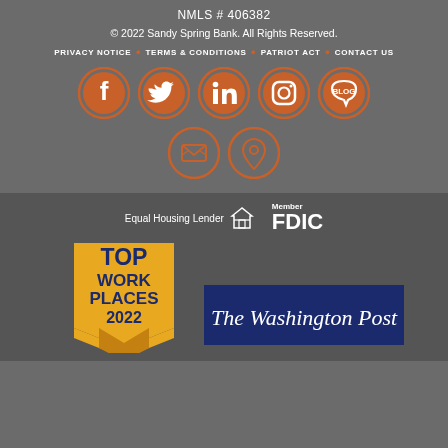NMLS # 406382
© 2022 Sandy Spring Bank. All Rights Reserved.
PRIVACY NOTICE • TERMS & CONDITIONS • PATRIOT ACT • CONTACT US
[Figure (illustration): Five social media icons in orange circles: Facebook, Twitter, LinkedIn, Instagram, Blog]
[Figure (illustration): Two icons in orange circles: Email/envelope and Location pin]
Equal Housing Lender
[Figure (logo): Member FDIC logo]
[Figure (logo): Top Work Places 2022 badge with The Washington Post branding]